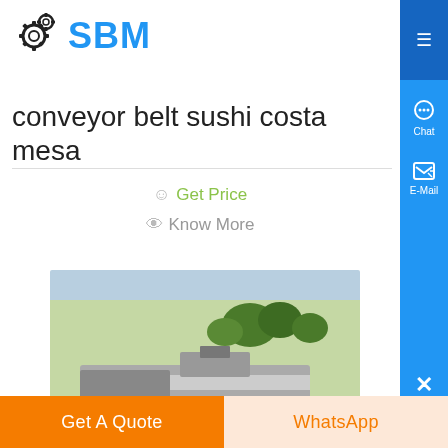SBM
conveyor belt sushi costa mesa
Get Price
Know More
[Figure (photo): Industrial conveyor belt truck/equipment photo]
conveyor belt sushi costa mesa
Get A Quote
WhatsApp